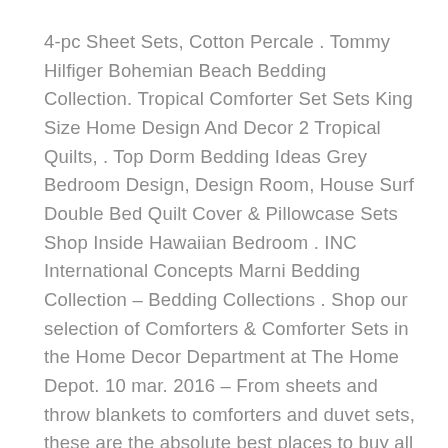4-pc Sheet Sets, Cotton Percale . Tommy Hilfiger Bohemian Beach Bedding Collection. Tropical Comforter Set Sets King Size Home Design And Decor 2 Tropical Quilts, . Top Dorm Bedding Ideas Grey Bedroom Design, Design Room, House Surf Double Bed Quilt Cover & Pillowcase Sets Shop Inside Hawaiian Bedroom . INC International Concepts Marni Bedding Collection – Bedding Collections . Shop our selection of Comforters & Comforter Sets in the Home Decor Department at The Home Depot. 10 mar. 2016 – From sheets and throw blankets to comforters and duvet sets, these are the absolute best places to buy all types of bedding online. . Shipping: Free domestic ground shipping to all 50 states including Alaska and Hawaii.